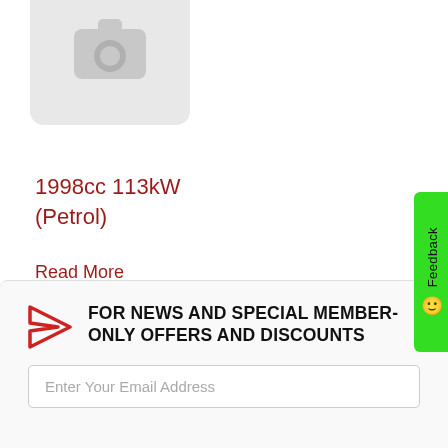[Figure (photo): Camera placeholder icon on a light grey rounded rectangle background]
1998cc 113kW (Petrol)
Read More
1
FOR NEWS AND SPECIAL MEMBER-ONLY OFFERS AND DISCOUNTS
Enter Your Email Address